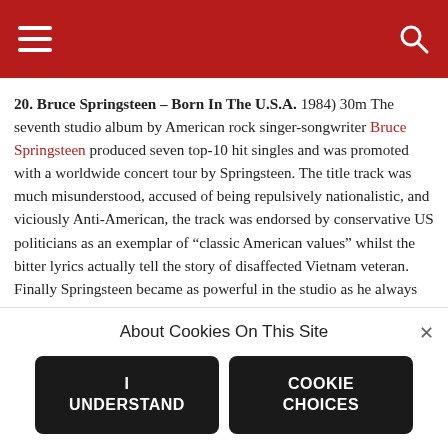20. Bruce Springsteen – Born In The U.S.A. 1984) 30m The seventh studio album by American rock singer-songwriter Bruce Springsteen produced seven top-10 hit singles and was promoted with a worldwide concert tour by Springsteen. The title track was much misunderstood, accused of being repulsively nationalistic, and viciously Anti-American, the track was endorsed by conservative US politicians as an exemplar of “classic American values” whilst the bitter lyrics actually tell the story of disaffected Vietnam veteran. Finally Springsteen became as powerful in the studio as he always had been on stage.
About Cookies On This Site
I UNDERSTAND
COOKIE CHOICES